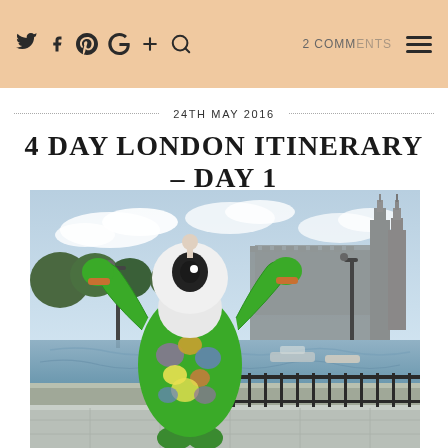Social share icons, 2 COMMENTS, hamburger menu
24TH MAY 2016
4 DAY LONDON ITINERARY – DAY 1
[Figure (photo): A colorful London 2012 Olympic mascot Wenlock sculpture decorated with flowers and foliage, positioned on the Thames Embankment with the Houses of Parliament and Big Ben visible in the background across the River Thames]